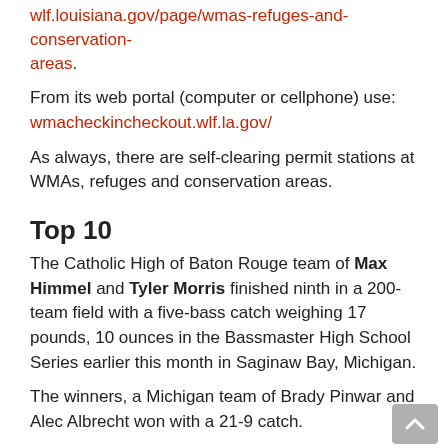wlf.louisiana.gov/page/wmas-refuges-and-conservation-areas.
From its web portal (computer or cellphone) use: wmacheckincheckout.wlf.la.gov/
As always, there are self-clearing permit stations at WMAs, refuges and conservation areas.
Top 10
The Catholic High of Baton Rouge team of Max Himmel and Tyler Morris finished ninth in a 200-team field with a five-bass catch weighing 17 pounds, 10 ounces in the Bassmaster High School Series earlier this month in Saginaw Bay, Michigan.
The winners, a Michigan team of Brady Pinwar and Alec Albrecht won with a 21-9 catch.
Red snapper